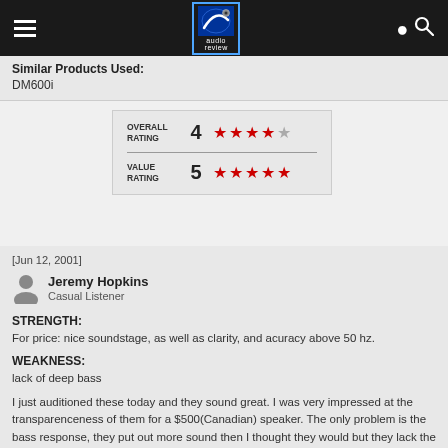audio review
Similar Products Used: DM600i
OVERALL RATING 4 (4 out of 5 stars)
VALUE RATING 5 (5 out of 5 stars)
[Jun 12, 2001] Jeremy Hopkins, Casual Listener
STRENGTH:
For price: nice soundstage, as well as clarity, and acuracy above 50 hz.
WEAKNESS:
lack of deep bass
I just auditioned these today and they sound great. I was very impressed at the transparenceness of them for a $500(Canadian) speaker. The only problem is the bass response, they put out more sound then I thought they would but they lack the very deep bass. This will be my first real speaker purchase, so I figured